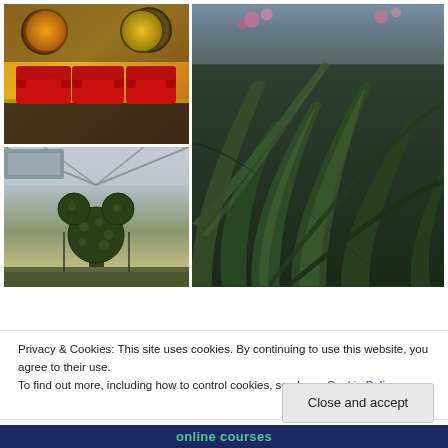[Figure (photo): A 2x2 photo grid: top-left shows red chairs/sofas with circular logos on a dark background; top-right and bottom-right (spanning) shows a close-up of spiky green plant leaves; bottom-left shows a Mickey Mouse shaped topiary tree inside a greenhouse.]
Privacy & Cookies: This site uses cookies. By continuing to use this website, you agree to their use.
To find out more, including how to control cookies, see here: Cookie Policy
Close and accept
online courses